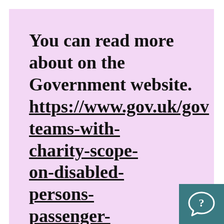You can read more about on the Government website. https://www.gov.uk/gov teams-with-charity-scope-on-disabled-persons-passenger-